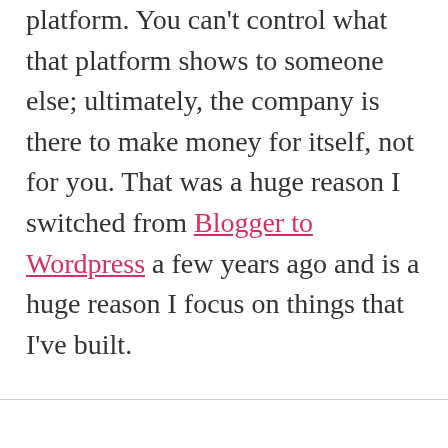platform. You can't control what that platform shows to someone else; ultimately, the company is there to make money for itself, not for you. That was a huge reason I switched from Blogger to Wordpress a few years ago and is a huge reason I focus on things that I've built.